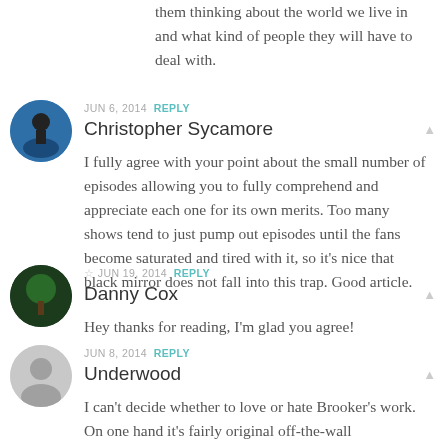them thinking about the world we live in and what kind of people they will have to deal with.
JUN 6, 2014  REPLY
Christopher Sycamore
I fully agree with your point about the small number of episodes allowing you to fully comprehend and appreciate each one for its own merits. Too many shows tend to just pump out episodes until the fans become saturated and tired with it, so it's nice that black mirror does not fall into this trap. Good article.
☆ JUN 19, 2014  REPLY
Danny Cox
Hey thanks for reading, I'm glad you agree!
JUN 8, 2014  REPLY
Underwood
I can't decide whether to love or hate Brooker's work. On one hand it's fairly original off-the-wall